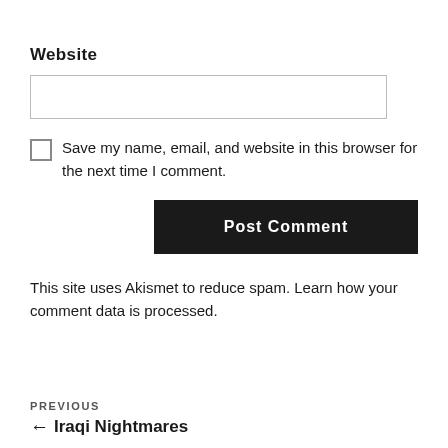Website
Save my name, email, and website in this browser for the next time I comment.
Post Comment
This site uses Akismet to reduce spam. Learn how your comment data is processed.
PREVIOUS
← Iraqi Nightmares